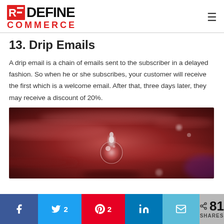REDEFINE COMMERCE
13. Drip Emails
A drip email is a chain of emails sent to the subscriber in a delayed fashion. So when he or she subscribes, your customer will receive the first which is a welcome email. After that, three days later, they may receive a discount of 20%.
[Figure (photo): Close-up macro photograph of a water droplet suspended in mid-air against a blurred reddish-purple background]
Facebook | Twitter 2 | Pinterest 2 | LinkedIn | Email | < 81 SHARES